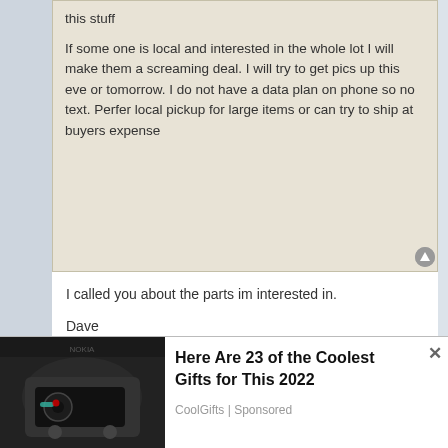this stuff

If some one is local and interested in the whole lot I will make them a screaming deal. I will try to get pics up this eve or tomorrow. I do not have a data plan on phone so no text. Perfer local pickup for large items or can try to ship at buyers expense
I called you about the parts im interested in.
Dave
RB24D
Re: RB Classifieds - RB engine Parts Only
Fri Jan 31, 2014 6:00 am
got msg will contact today.
Here Are 23 of the Coolest Gifts for This 2022
CoolGifts | Sponsored